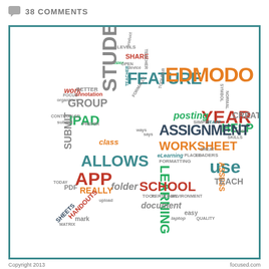38 COMMENTS
[Figure (infographic): Word cloud in the shape of a star containing education/Edmodo related terms including: EDMODO, FEATURE, YEAR, ASSIGNMENT, WORKSHEET, SCHOOL, LEARNING, ALLOWS, APP, STUDENTS, GROUP, IPAD, HELP, CREATE, USE, posting, folder, document, TEACH, HANDOUTS, SHEETS, PDF, REALLY, class, SUBMIT, annotation, work, BETTER, LEVELS, SHARE, easier, TEACHER, SIMPLE, STAFF, eLearning, FORMATTING, PERSONAL, TOOL, ENVIRONMENT, easy, ASSESS, LEADERS, mark, laptop, HANDOUTS]
Copyright 2013